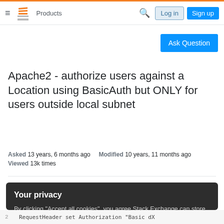≡ [Stack Overflow logo] Products 🔍 Log in Sign up
Ask Question
Apache2 - authorize users against a Location using BasicAuth but ONLY for users outside local subnet
Asked 13 years, 6 months ago   Modified 10 years, 11 months ago
Viewed 13k times
Your privacy
By clicking "Accept all cookies", you agree Stack Exchange can store cookies on your device and disclose information in accordance with our Cookie Policy.
Accept all cookies   Customize settings
2   RequestHeader set Authorization "Basic dX